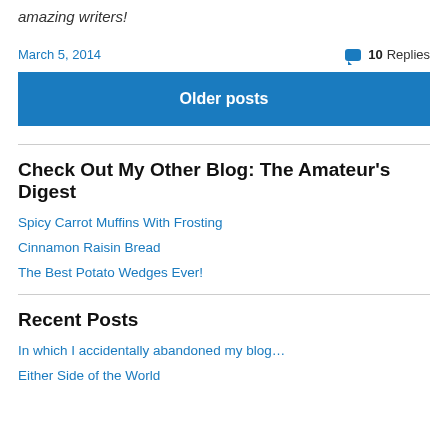amazing writers!
March 5, 2014
10 Replies
Older posts
Check Out My Other Blog: The Amateur's Digest
Spicy Carrot Muffins With Frosting
Cinnamon Raisin Bread
The Best Potato Wedges Ever!
Recent Posts
In which I accidentally abandoned my blog…
Either Side of the World